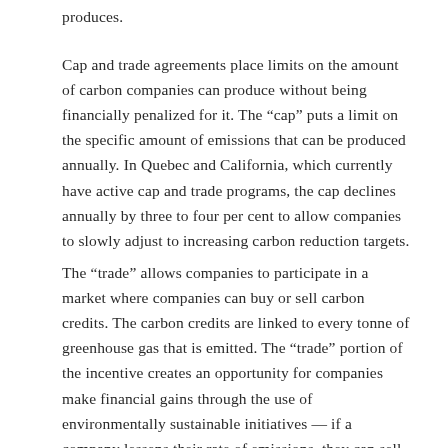produces.
Cap and trade agreements place limits on the amount of carbon companies can produce without being financially penalized for it. The “cap” puts a limit on the specific amount of emissions that can be produced annually. In Quebec and California, which currently have active cap and trade programs, the cap declines annually by three to four per cent to allow companies to slowly adjust to increasing carbon reduction targets.
The “trade” allows companies to participate in a market where companies can buy or sell carbon credits. The carbon credits are linked to every tonne of greenhouse gas that is emitted. The “trade” portion of the incentive creates an opportunity for companies make financial gains through the use of environmentally sustainable initiatives — if a company lessens their rate of emissions, they can sell their unused carbon credits to other companies.